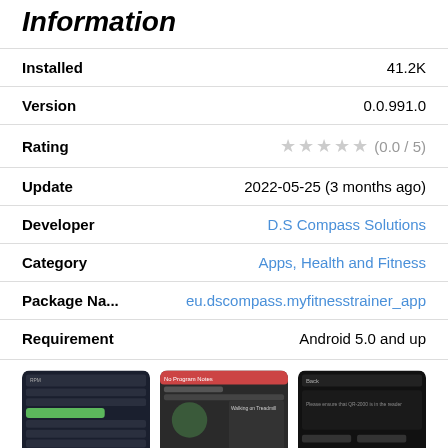Information
Installed	41.2K
Version	0.0.991.0
Rating	★★★★★ (0.0 / 5)
Update	2022-05-25 (3 months ago)
Developer	D.S Compass Solutions
Category	Apps, Health and Fitness
Package Na...	eu.dscompass.myfitnesstrainer_app
Requirement	Android 5.0 and up
[Figure (screenshot): Three app screenshots showing fitness tracker interface]